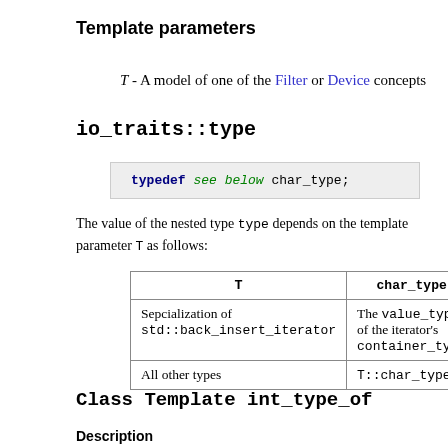Template parameters
T - A model of one of the Filter or Device concepts
io_traits::type
[Figure (other): Code block showing: typedef see below char_type;]
The value of the nested type type depends on the template parameter T as follows:
| T | char_type |
| --- | --- |
| Sepcialization of std::back_insert_iterator | The value_type of the iterator's container_type |
| All other types | T::char_type |
Class Template int_type_of
Description